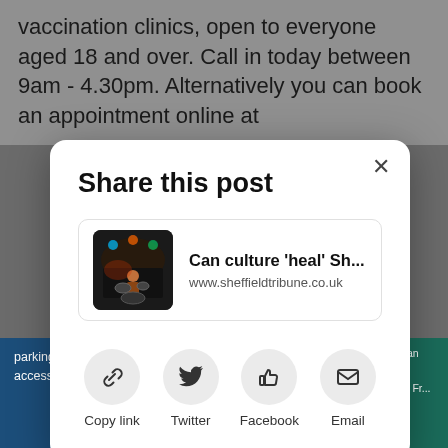vaccination clinics, open to everyone aged 18 and over. Call in today between 9am - 4.30pm. Alternatively you can book an appointment online at
[Figure (screenshot): Share this post modal dialog with a link card showing 'Can culture \'heal\' Sh...' from www.sheffieldtribune.co.uk and share buttons: Copy link, Twitter, Facebook, Email]
parking available on site
accessible building
Walk-in patients are welcome to book an appointment at the following times:
• Tuesday, Wednesday, Thursday, Fr... 6.30pm - 9pm
• Saturday and Sunday 9am - 4.30pm